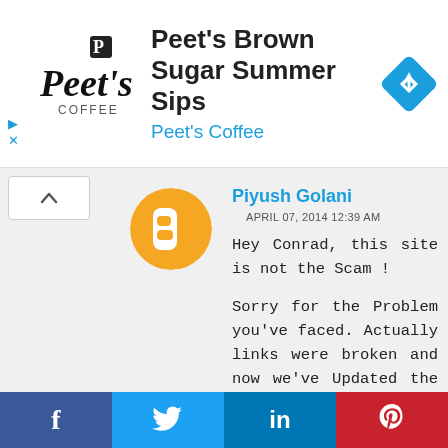[Figure (other): Peet's Coffee advertisement banner with logo, title 'Peet's Brown Sugar Summer Sips', subtitle 'Peet's Coffee', and a blue diamond navigation arrow icon]
[Figure (other): Orange Blogger avatar circle with white equal-sign icon for user Piyush Golani]
Piyush Golani
APRIL 07, 2014 12:39 AM
Hey Conrad, this site is not the Scam !

Sorry for the Problem you've faced. Actually links were broken and now we've Updated the links please try Once again or just visit here :- http://www.free-wifi-hacker.com/
[Figure (other): Social sharing bar with Facebook, Twitter, LinkedIn, and Pinterest buttons]